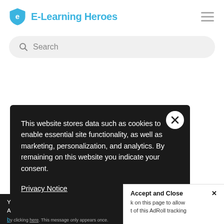[Figure (logo): E-Learning Heroes shield logo with letter e and blue text brand name]
[Figure (screenshot): Search bar with magnifying glass icon and placeholder text Search]
This website stores data such as cookies to enable essential site functionality, as well as marketing, personalization, and analytics. By remaining on this website you indicate your consent.
Privacy Notice
Accept and Close ×
k on this page to allow t of this AdRoll tracking